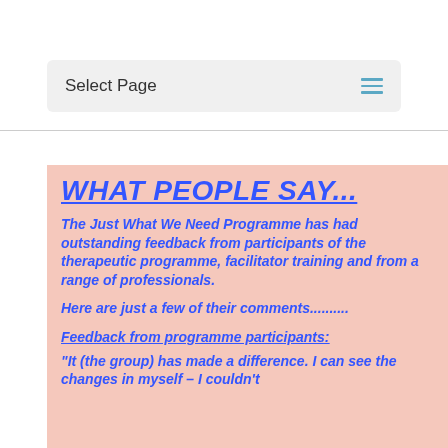Select Page
WHAT PEOPLE SAY...
The Just What We Need Programme has had outstanding feedback from participants of the therapeutic programme, facilitator training and from a range of professionals.
Here are just a few of their comments..........
Feedback from programme participants:
“It (the group) has made a difference. I can see the changes in myself – I couldn’t